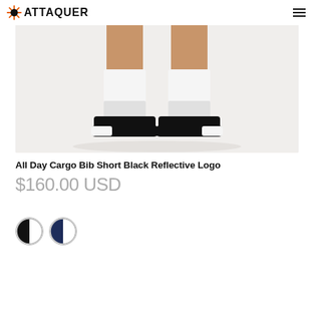ATTAQUER
[Figure (photo): Close-up photo of a person's lower legs wearing white cycling socks and black slide sandals on a white background]
All Day Cargo Bib Short Black Reflective Logo
$160.00 USD
[Figure (other): Two circular color swatches: left is black/white half-and-half, right is navy/white half-and-half]